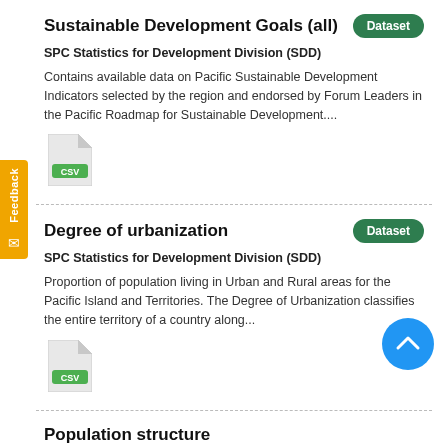Sustainable Development Goals (all)
SPC Statistics for Development Division (SDD)
Contains available data on Pacific Sustainable Development Indicators selected by the region and endorsed by Forum Leaders in the Pacific Roadmap for Sustainable Development....
[Figure (other): CSV file icon]
Degree of urbanization
SPC Statistics for Development Division (SDD)
Proportion of population living in Urban and Rural areas for the Pacific Island and Territories. The Degree of Urbanization classifies the entire territory of a country along...
[Figure (other): CSV file icon]
Population structure